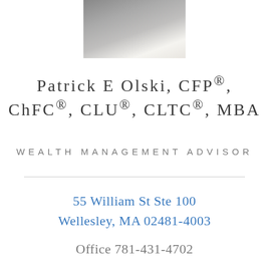[Figure (photo): Headshot photo of Patrick E Olski, a man in a grey blazer and white shirt, cropped at the shoulders]
Patrick E Olski, CFP®, ChFC®, CLU®, CLTC®, MBA
WEALTH MANAGEMENT ADVISOR
55 William St Ste 100
Wellesley, MA 02481-4003
Office 781-431-4702